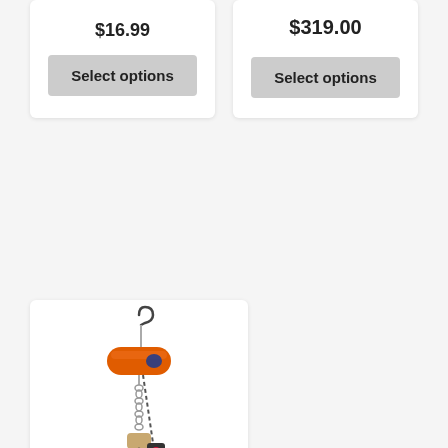$16.99
Select options
$319.00
Select options
[Figure (photo): CM ShopStar Electric Chain Hoist (3 Phase) product photo showing an orange motorized hoist body with a hanging chain and hook below]
CM ShopStar Electric Chain Hoist (3 Phase)
★★★★★